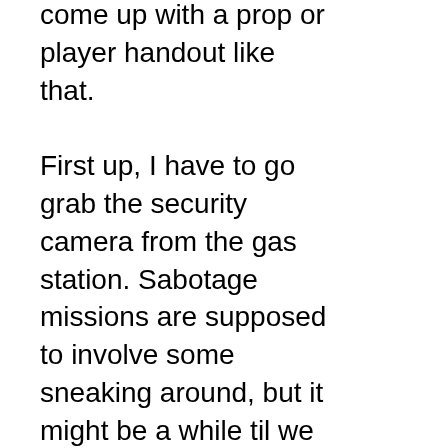come up with a prop or player handout like that.

First up, I have to go grab the security camera from the gas station. Sabotage missions are supposed to involve some sneaking around, but it might be a while til we get to that. Taking the camera from the gas station, and